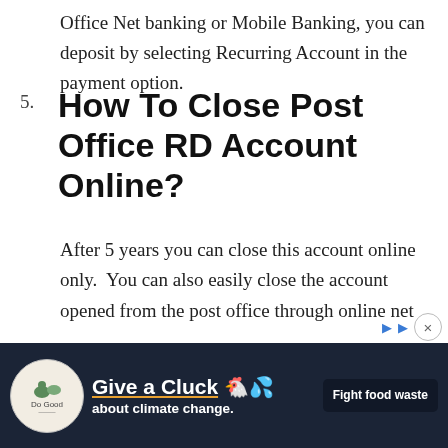Office Net banking or Mobile Banking, you can deposit by selecting Recurring Account in the payment option.
5. How To Close Post Office RD Account Online?
After 5 years you can close this account online only.  You can also easily close the account opened from the post office through online net
[Figure (other): Advertisement banner with dark navy background. Shows 'Do Good' logo circle on left, bold text 'Give a Cluck about climate change.' in white with orange underline on headline, chicken emoji illustration, and 'Fight food waste' button on right. Has close (X) and play buttons above.]